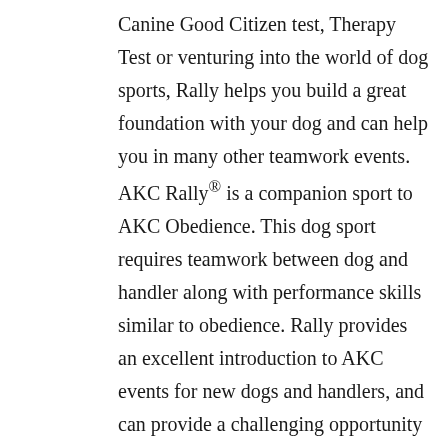Canine Good Citizen test, Therapy Test or venturing into the world of dog sports, Rally helps you build a great foundation with your dog and can help you in many other teamwork events. AKC Rally® is a companion sport to AKC Obedience. This dog sport requires teamwork between dog and handler along with performance skills similar to obedience. Rally provides an excellent introduction to AKC events for new dogs and handlers, and can provide a challenging opportunity for competitors in other events to strengthen their skills. You can learn more about Rally and how it works here.
Lucky Dog's Rally classes refine your dog's basic manners and have real life applications, in addition to preparing you to enter AKC Rally-O and